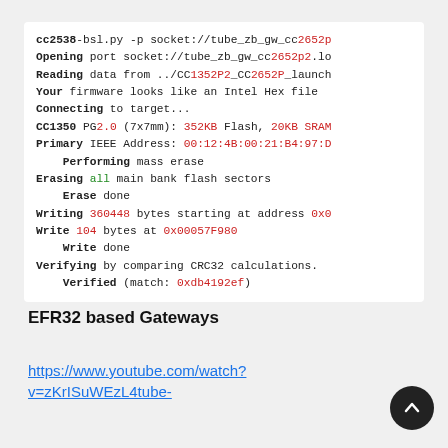cc2538-bsl.py -p socket://tube_zb_gw_cc2652p
Opening port socket://tube_zb_gw_cc2652p2.lo
Reading data from ../CC1352P2_CC2652P_launch
Your firmware looks like an Intel Hex file
Connecting to target...
CC1350 PG2.0 (7x7mm): 352KB Flash, 20KB SRAM
Primary IEEE Address: 00:12:4B:00:21:B4:97:D
    Performing mass erase
Erasing all main bank flash sectors
    Erase done
Writing 360448 bytes starting at address 0x0
Write 104 bytes at 0x00057F980
    Write done
Verifying by comparing CRC32 calculations.
    Verified (match: 0xdb4192ef)
EFR32 based Gateways
https://www.youtube.com/watch?v=zKrISuWEzL4tube-